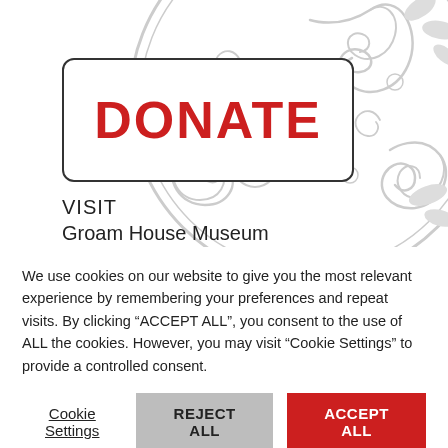[Figure (illustration): Celtic knotwork / triskelion decorative circular pattern in light grey on white background, used as website hero image]
DONATE
VISIT
Groam House Museum
We use cookies on our website to give you the most relevant experience by remembering your preferences and repeat visits. By clicking “ACCEPT ALL”, you consent to the use of ALL the cookies. However, you may visit "Cookie Settings" to provide a controlled consent.
Cookie Settings | REJECT ALL | ACCEPT ALL